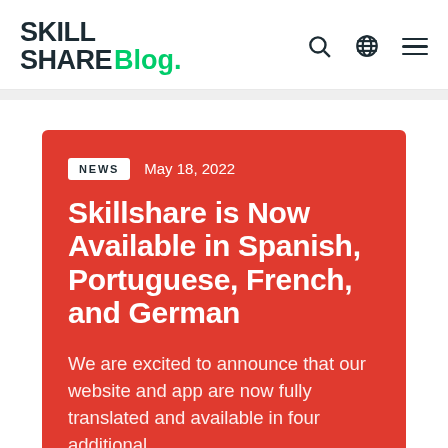SKILL SHARe Blog.
NEWS  May 18, 2022
Skillshare is Now Available in Spanish, Portuguese, French, and German
We are excited to announce that our website and app are now fully translated and available in four additional